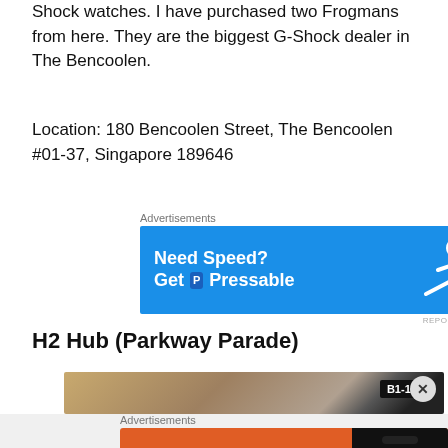Shock watches. I have purchased two Frogmans from here. They are the biggest G-Shock dealer in The Bencoolen.
Location: 180 Bencoolen Street, The Bencoolen #01-37, Singapore 189646
[Figure (screenshot): Pressable advertisement banner: blue background with 'Need Speed? Get Pressable' text and a running person illustration]
H2 Hub (Parkway Parade)
[Figure (photo): Photo strip showing interior of a store with B1-101 badge visible]
[Figure (screenshot): DuckDuckGo advertisement: orange background with 'Search, browse, and email with more privacy. All in One Free App' and phone mockup with DuckDuckGo logo]